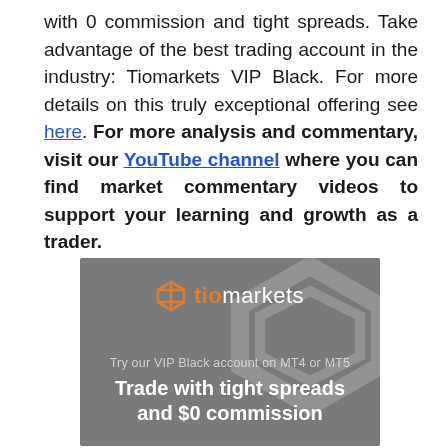with 0 commission and tight spreads. Take advantage of the best trading account in the industry: Tiomarkets VIP Black. For more details on this truly exceptional offering see here. For more analysis and commentary, visit our YouTube channel where you can find market commentary videos to support your learning and growth as a trader.
[Figure (illustration): TioMarkets advertisement banner with gray background. Shows the TioMarkets logo (orange triangle icon and 'tio' in orange, 'markets' in white), text 'Try our VIP Black account on MT4 or MT5', and headline 'Trade with tight spreads and $0 commission'.]